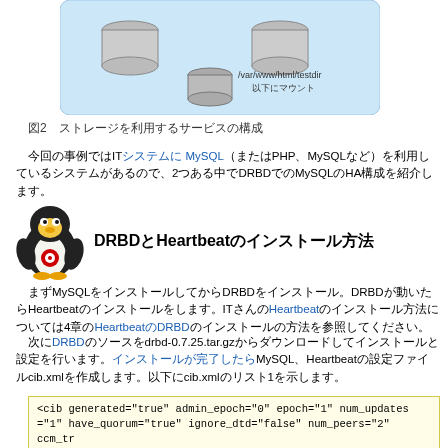[Figure (schematic): Diagram showing storage cylinders with /var/www/html/testdir mount point label, inside a light blue rounded rectangle]
図2　ストレージを利用するサービスの構成
今回の事例ではITシステムにMySQL（またはPHP、MySQLなど）を利用しているシステムが2つあり、DRBDでのMySQLのHA構成を紹介します。
DRBDとHeartbeatのインストール方法
まずMySQLをインストールしてからDRBDをインストール。DRBDが動いたらHeartbeatのインストールをします。ITさんのHeartbeatのインストール方法については4章のHeartbeatのDRBDのインストールの方法を参照してください。
次にDRBDのソースをdrbd-0.7.25.tar.gzからダウンロードしてインストールと設定を行います。インストールが完了したらMySQL、Heartbeatの設定ファイルcib.xmlを作成します。以下にcib.xmlのリスト1を示します。
<cib generated="true" admin_epoch="0" epoch="1" num_updates ="1" have_quorum="true" ignore_dtd="false" num_peers="2" ccm_tr ansition="2" cib_feature_revision="2.0" cib-last-written="Fri Mar 28 00:58:19 2008">